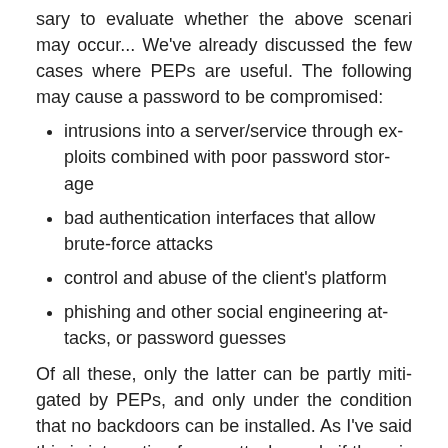sary to evaluate whether the above scenari may occur... We've already discussed the few cases where PEPs are useful. The following may cause a password to be compromised:
intrusions into a server/service through exploits combined with poor password storage
bad authentication interfaces that allow brute-force attacks
control and abuse of the client's platform
phishing and other social engineering attacks, or password guesses
Of all these, only the latter can be partly mitigated by PEPs, and only under the condition that no backdoors can be installed. As I've said this is interesting for an attacker only if there is significant value in accessing the service again a somewhat distant future. I don't think there is much more to say about PEP security than that... Points one and two are basic secure software engineering, and points three and four are